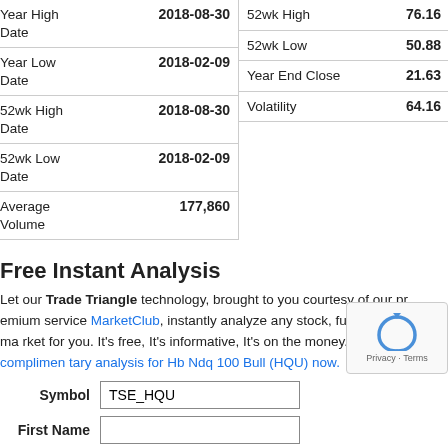| Label | Value |
| --- | --- |
| Year High Date | 2018-08-30 |
| Year Low Date | 2018-02-09 |
| 52wk High Date | 2018-08-30 |
| 52wk Low Date | 2018-02-09 |
| Average Volume | 177,860 |
| Label | Value |
| --- | --- |
| 52wk High | 76.16 |
| 52wk Low | 50.88 |
| Year End Close | 21.63 |
| Volatility | 64.16 |
Free Instant Analysis
Let our Trade Triangle technology, brought to you courtesy of our premium service MarketClub, instantly analyze any stock, futures or forex market for you. It's free, It's informative, It's on the money. View our complimentary analysis for Hb Ndq 100 Bull (HQU) now.